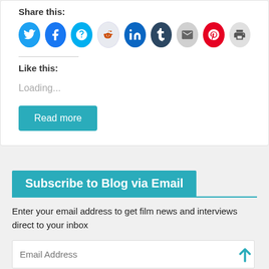Share this:
[Figure (infographic): Row of social media sharing icons: Twitter (blue), Facebook (blue), Skype (light blue), Reddit (light gray), LinkedIn (dark blue), Tumblr (dark navy), Email (light gray), Pinterest (red), Print (light gray)]
Like this:
Loading...
Read more
Subscribe to Blog via Email
Enter your email address to get film news and interviews direct to your inbox
Email Address